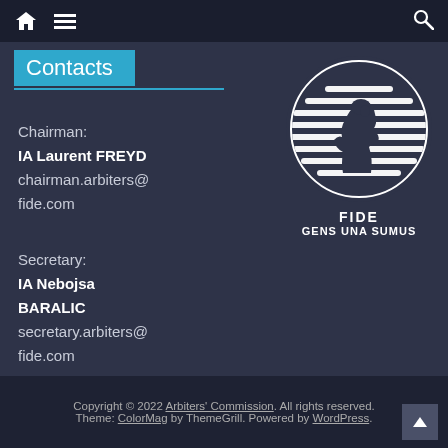Navigation bar with home icon, menu icon, and search icon
Contacts
Chairman:
IA Laurent FREYD
chairman.arbiters@fide.com
Secretary:
IA Nebojsa BARALIC
secretary.arbiters@fide.com
[Figure (logo): FIDE chess knight logo with text FIDE GENS UNA SUMUS]
Copyright © 2022 Arbiters' Commission. All rights reserved. Theme: ColorMag by ThemeGrill. Powered by WordPress.